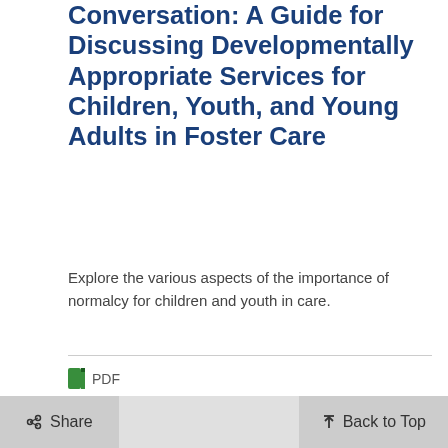Conversation: A Guide for Discussing Developmentally Appropriate Services for Children, Youth, and Young Adults in Foster Care
Explore the various aspects of the importance of normalcy for children and youth in care.
PDF
Having the Normalcy Conversation: Sample Agenda
Learn to facilitate a normalcy conversation and to promote normal and developmentally appropriate experiences for youth in foster care.
Share   Back to Top